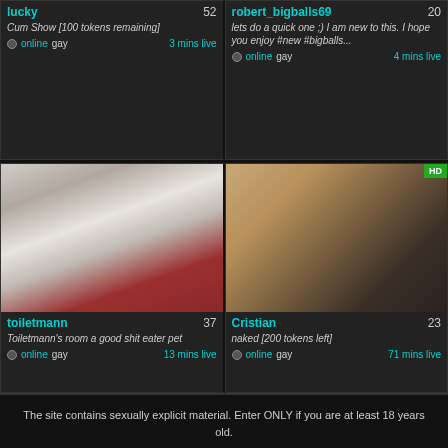[Figure (screenshot): Webcam listing page showing four broadcaster cards in a 2x2 grid. Top row: lucky (52 viewers) and robert_bigballs69 (20 viewers). Bottom row: toiletmann (37 viewers) and Cristian (23 viewers). Each card shows a thumbnail, username, viewer count, description, online status, and minutes live.]
The site contains sexually explicit material. Enter ONLY if you are at least 18 years old.
Copyright © mygaywebcam.com 2022 – All Rights Reserved